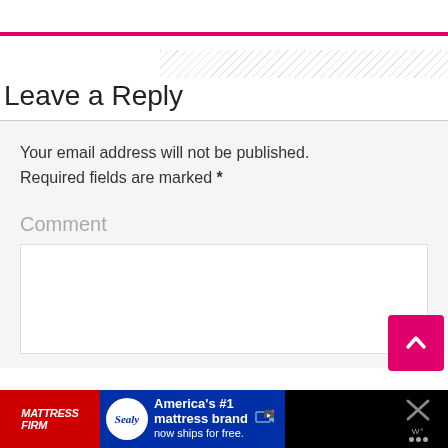Leave a Reply
Your email address will not be published. Required fields are marked *
Comment
[Figure (screenshot): Comment text area input field, empty, with white background and light border]
[Figure (infographic): Back to top button, pink/magenta square with upward chevron arrow]
[Figure (screenshot): Advertisement bar at bottom: MattressFirm red logo on left, Sealy navy blue ad in center reading 'America's #1 mattress brand now ships for free.', close/weather icons on right]